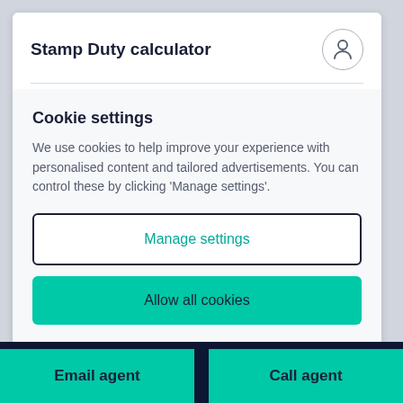Stamp Duty calculator
I am...
Cookie settings
We use cookies to help improve your experience with personalised content and tailored advertisements. You can control these by clicking 'Manage settings'.
Manage settings
Allow all cookies
Email agent
Call agent